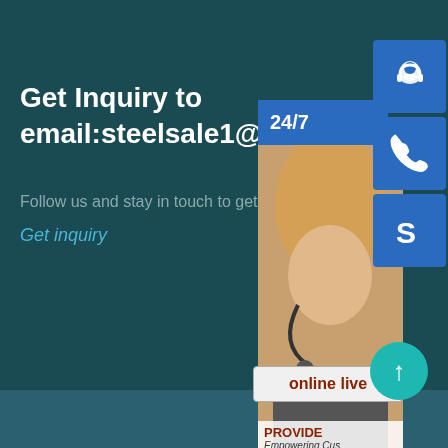Get Inquiry to email:steelsale1@16
Follow us and stay in touch to get the lat
Get inquiry
[Figure (infographic): Contact panel showing a female customer service agent with headset, a 24/7 banner, three blue icon buttons (headset, phone, Skype), an 'online live' button, 'PROVIDE Empowering Customers' text, and a teal scroll-to-top arrow button]